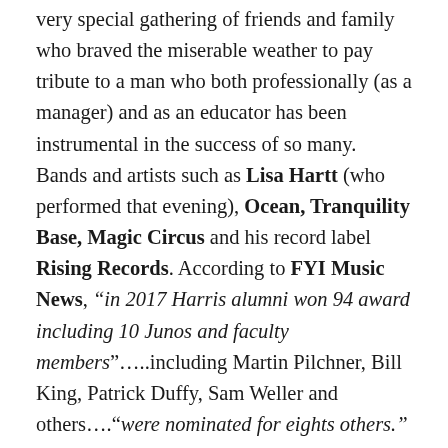very special gathering of friends and family who braved the miserable weather to pay tribute to a man who both professionally (as a manager) and as an educator has been instrumental in the success of so many. Bands and artists such as Lisa Hartt (who performed that evening), Ocean, Tranquility Base, Magic Circus and his record label Rising Records. According to FYI Music News, “in 2017 Harris alumni won 94 award including 10 Junos and faculty members”…..including Martin Pilchner, Bill King, Patrick Duffy, Sam Weller and others….“were nominated for eights others.” I learned so much that evening about a man who has impacted many lives around the world, who is highly respected and admired by his peers, who has survived this business we call music and remains a true gentleman. Very glad to make your acquaintance John Harris. To find out more about the Harris Institute click here: http://harrisinstitute.com/...